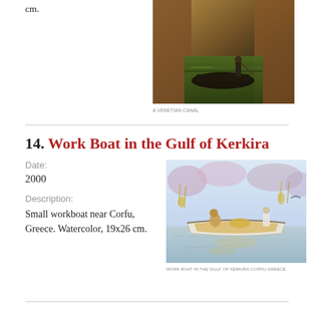cm.
[Figure (photo): A Venetian canal scene with a gondolier on a dark boat in a narrow canal between brick buildings. Watercolor painting.]
A VENETIAN CANAL
14. Work Boat in the Gulf of Kerkira
Date:
2000
Description:
Small workboat near Corfu, Greece. Watercolor, 19x26 cm.
[Figure (photo): A small workboat painting near Corfu, Greece. Watercolor showing figures in a boat with reflections in water. 19x26 cm.]
WORK BOAT IN THE GULF OF KERKIRA CORFU GREECE